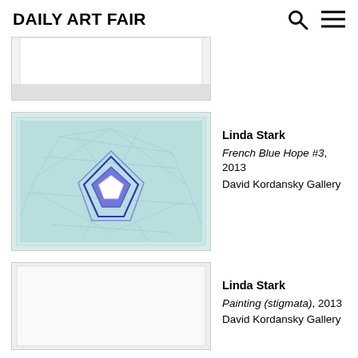Daily Art Fair
[Figure (photo): Partial view of a framed artwork with white/light colored canvas, cropped at top of page]
Linda Stark
French Blue Hope #3, 2013
David Kordansky Gallery
[Figure (photo): Framed painting by Linda Stark titled French Blue Hope #3, 2013 - shows geometric diamond/crystal shape in blue tones on light aqua background with web-like line patterns]
Linda Stark
Painting (stigmata), 2013
David Kordansky Gallery
[Figure (photo): Partial view of a framed artwork with white/cream canvas, partially cut off at bottom of page - Painting (stigmata) by Linda Stark]